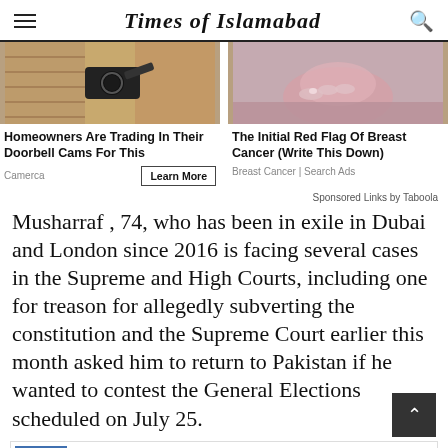Times of Islamabad
[Figure (photo): Security camera mounted on sandy/clay wall]
Homeowners Are Trading In Their Doorbell Cams For This
Camerca
[Figure (photo): Close-up of person's hands holding breast/chest area in pink/mauve clothing]
The Initial Red Flag Of Breast Cancer (Write This Down)
Breast Cancer | Search Ads
Sponsored Links by Taboola
Musharraf , 74, who has been in exile in Dubai and London since 2016 is facing several cases in the Supreme and High Courts, including one for treason for allegedly subverting the constitution and the Supreme Court earlier this month asked him to return to Pakistan if he wanted to contest the General Elections scheduled on July 25.
Pakistan starts receiving mass aid from friendly